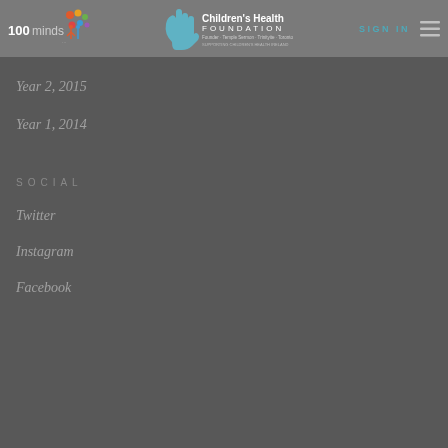[Figure (logo): 100minds logo with colorful dots and figures icon on left side of header]
[Figure (logo): Children's Health Foundation logo with hand icon and text in center of header]
SIGN IN
Year 2, 2015
Year 1, 2014
SOCIAL
Twitter
Instagram
Facebook